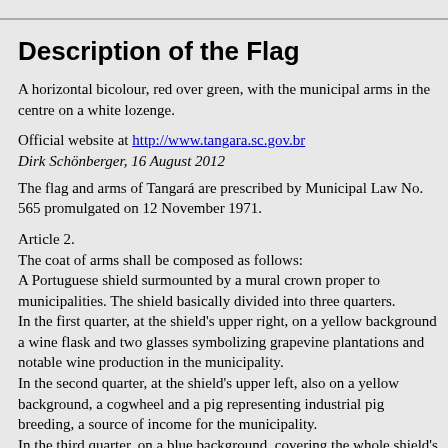Description of the Flag
A horizontal bicolour, red over green, with the municipal arms in the centre on a white lozenge.
Official website at http://www.tangara.sc.gov.br
Dirk Schönberger, 16 August 2012
The flag and arms of Tangará are prescribed by Municipal Law No. 565 promulgated on 12 November 1971.
Article 2.
The coat of arms shall be composed as follows:
A Portuguese shield surmounted by a mural crown proper to municipalities. The shield basically divided into three quarters.
In the first quarter, at the shield's upper right, on a yellow background a wine flask and two glasses symbolizing grapevine plantations and notable wine production in the municipality.
In the second quarter, at the shield's upper left, also on a yellow background, a cogwheel and a pig representing industrial pig breeding, a source of income for the municipality.
In the third quarter, on a blue background, covering the whole shield's base, wheat and maize as the municipality's main crops.